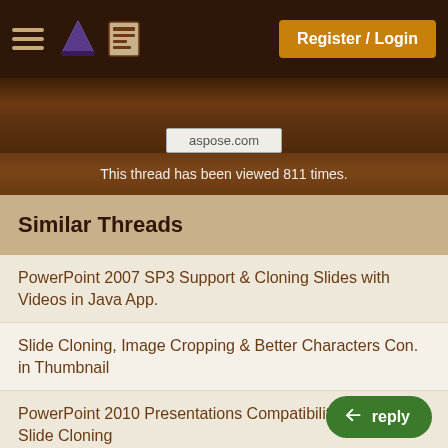Register / Login
This thread has been viewed 811 times.
Similar Threads
PowerPoint 2007 SP3 Support & Cloning Slides with Videos in Java App.
Slide Cloning, Image Cropping & Better Characters Con. in Thumbnail
PowerPoint 2010 Presentations Compatibility Support & Slide Cloning
Scale Images Added in Slide Shape & Improved API Usability in Linux/Unix
SmartArt Rendering in Thumbnail & Load Cloned Presentation in PP 2010